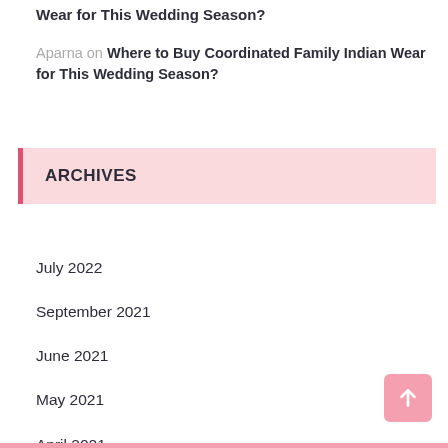Wear for This Wedding Season?
Aparna on Where to Buy Coordinated Family Indian Wear for This Wedding Season?
ARCHIVES
July 2022
September 2021
June 2021
May 2021
April 2021